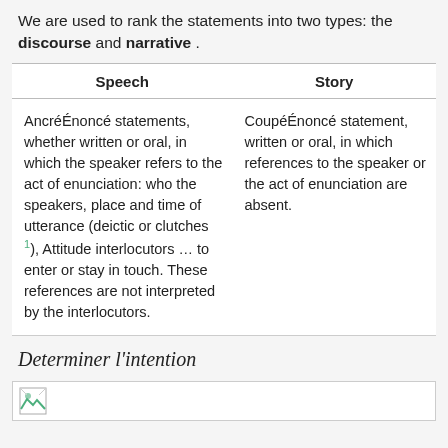We are used to rank the statements into two types: the discourse and narrative .
| Speech | Story |
| --- | --- |
| AncréÉnoncé statements, whether written or oral, in which the speaker refers to the act of enunciation: who the speakers, place and time of utterance (deictic or clutches ¹), Attitude interlocutors … to enter or stay in touch. These references are not interpreted by the interlocutors. | CoupéÉnoncé statement, written or oral, in which references to the speaker or the act of enunciation are absent. |
Determiner l'intention
[Figure (other): Broken image placeholder box]